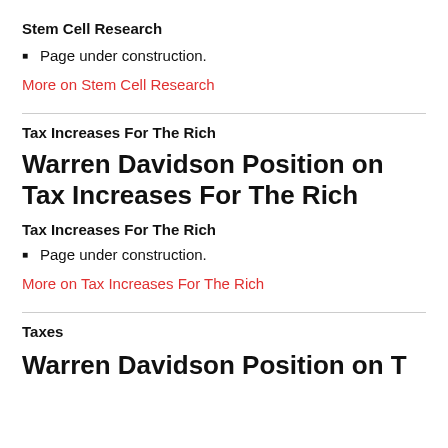Stem Cell Research
Page under construction.
More on Stem Cell Research
Tax Increases For The Rich
Warren Davidson Position on Tax Increases For The Rich
Tax Increases For The Rich
Page under construction.
More on Tax Increases For The Rich
Taxes
Warren Davidson Position on Taxes